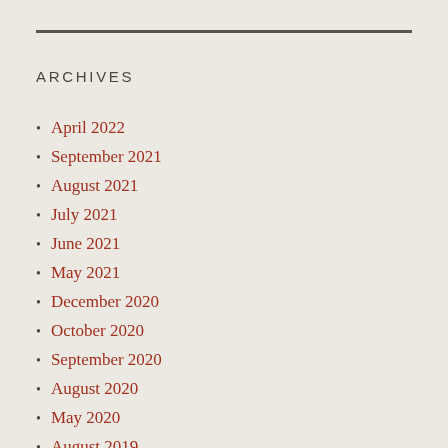ARCHIVES
April 2022
September 2021
August 2021
July 2021
June 2021
May 2021
December 2020
October 2020
September 2020
August 2020
May 2020
August 2019